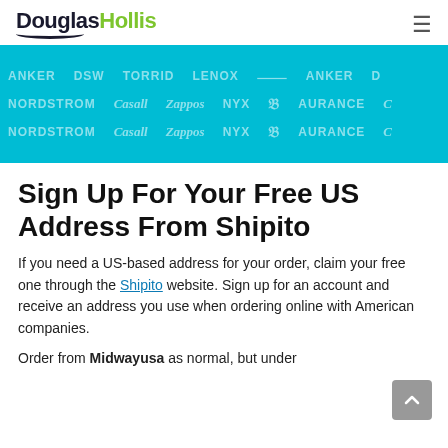DouglasHollis
[Figure (illustration): Cyan/turquoise banner showing repeating brand/retailer logos including ANKER, DSW, Zappos, NYX, and others on a teal background]
Sign Up For Your Free US Address From Shipito
If you need a US-based address for your order, claim your free one through the Shipito website. Sign up for an account and receive an address you use when ordering online with American companies.
Order from Midwayusa as normal, but under